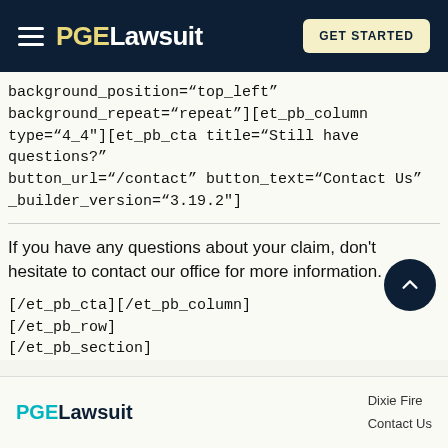PGELawsuit | GET STARTED
background_position="top_left" background_repeat="repeat"][et_pb_column type="4_4"][et_pb_cta title="Still have questions?" button_url="/contact" button_text="Contact Us" _builder_version="3.19.2"]
If you have any questions about your claim, don't hesitate to contact our office for more information.
[/et_pb_cta][/et_pb_column][/et_pb_row] [/et_pb_section]
PGELawsuit | Dixie Fire | Contact Us